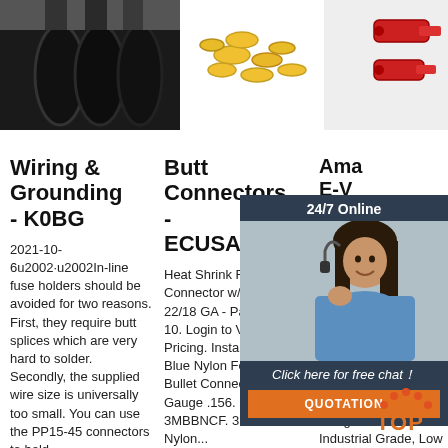[Figure (photo): Black heat shrink tubing / wires bundled together, dark background]
[Figure (photo): Yellow butt connectors / terminals scattered on white background]
[Figure (photo): Red wire terminals / butt connectors on light background]
Wiring & Grounding - K0BG
Butt Connectors - ECUSAD
Ama... E-V... Sold Sea... Con... – 50...
2021-10-6u2002·u2002In-line fuse holders should be avoided for two reasons. First, they require butt splices which are very hard to solder. Secondly, the supplied wire size is universally too small. You can use the PP15-45 connectors to hold
Heat Shrink Red Butt Connector w/Solder 22/18 GA - Package of 10. Login to View Pricing. InstallBay, 3M Blue Nylon Female Bullet Connector 16-14 Gauge .156. PART#: 3MBBNCF. 3m Blue Nylon...
Buy E-... Solder... Conne... PC Yellow Heat Shrink Butt Connectors for 12-10 Gauge Wires – Industrial Grade, Low Temperature Melt
[Figure (photo): 24/7 Online chat widget with photo of female customer service representative wearing headset, with 'Click here for free chat!' message and QUOTATION button]
[Figure (logo): TOP logo with orange-red dots arranged in triangle and orange TOP text]